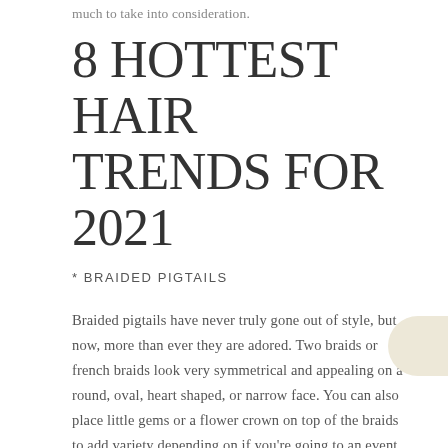much to take into consideration.
8 HOTTEST HAIR TRENDS FOR 2021
* BRAIDED PIGTAILS
Braided pigtails have never truly gone out of style, but now, more than ever they are adored. Two braids or french braids look very symmetrical and appealing on a round, oval, heart shaped, or narrow face. You can also place little gems or a flower crown on top of the braids to add variety depending on if you're going to an event or just wearing in the comfort of your home. Make sure you make